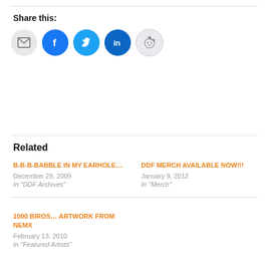Share this:
[Figure (other): Social sharing icons: email, Facebook, Twitter, LinkedIn, Reddit]
Related
B-B-B-BABBLE IN MY EARHOLE…
December 29, 2009
In "DDF Archives"
DDF MERCH AVAILABLE NOW!!!
January 9, 2012
In "Merch"
1000 BIROS… ARTWORK FROM NEMX
February 13, 2010
In "Featured Artists"